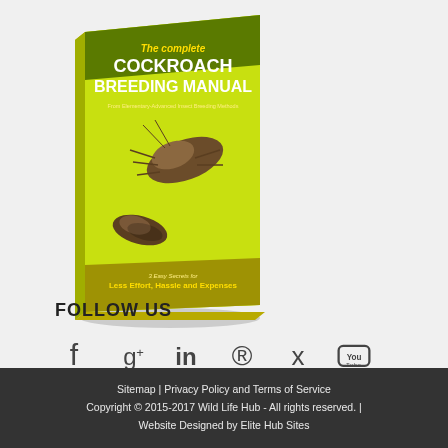[Figure (illustration): Book cover of 'The complete Cockroach Breeding Manual' with yellow/green cover showing cockroaches]
FOLLOW US
[Figure (infographic): Social media icons: Facebook, Google+, LinkedIn, Pinterest, Twitter, YouTube]
Sitemap | Privacy Policy and Terms of Service
Copyright © 2015-2017 Wild Life Hub - All rights reserved. |
Website Designed by Elite Hub Sites